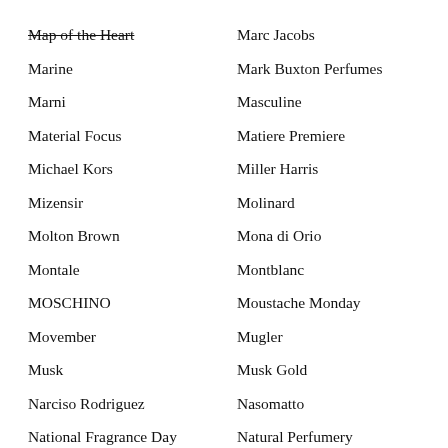Map of the Heart
Marc Jacobs
Marine
Mark Buxton Perfumes
Marni
Masculine
Material Focus
Matiere Premiere
Michael Kors
Miller Harris
Mizensir
Molinard
Molton Brown
Mona di Orio
Montale
Montblanc
MOSCHINO
Moustache Monday
Movember
Mugler
Musk
Musk Gold
Narciso Rodriguez
Nasomatto
National Fragrance Day
Natural Perfumery